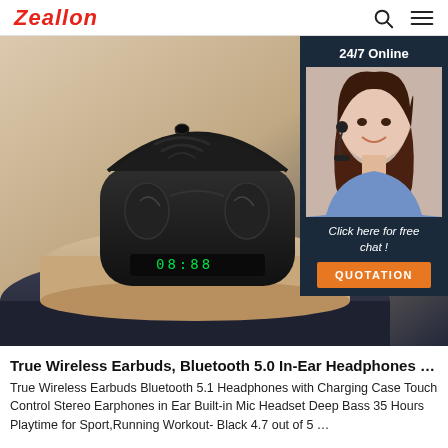Zeallon
[Figure (photo): True wireless earbuds in a charging case with LED display, placed on a circular platform with beige and dark navy tiers. A 24/7 Online chat widget overlays the top-right corner with a customer service agent photo, 'Click here for free chat!' text, and an orange QUOTATION button.]
True Wireless Earbuds, Bluetooth 5.0 In-Ear Headphones …
True Wireless Earbuds Bluetooth 5.1 Headphones with Charging Case Touch Control Stereo Earphones in Ear Built-in Mic Headset Deep Bass 35 Hours Playtime for Sport,Running Workout- Black 4.7 out of 5 …